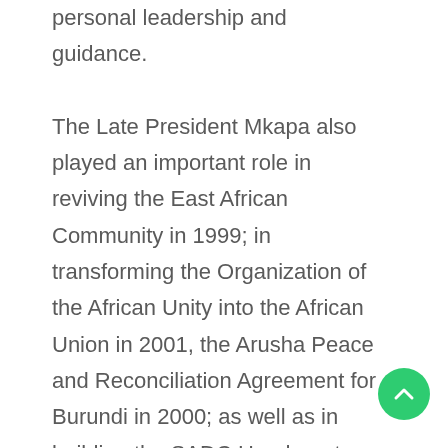personal leadership and guidance. The Late President Mkapa also played an important role in reviving the East African Community in 1999; in transforming the Organization of the African Unity into the African Union in 2001, the Arusha Peace and Reconciliation Agreement for Burundi in 2000; as well as in building the SADC Headquarters in Gaborone, Botswana. Indeed, it was in 2004, while passing on the baton of the Chairmanship, he made a clarion call to all Member States to contribute to a fund for the construction of the Headquarters, and went on to pledge USD 500,000 from Tanzania. Having seen